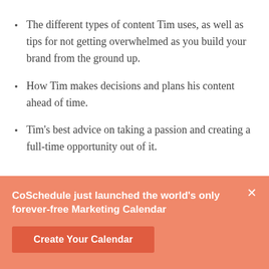The different types of content Tim uses, as well as tips for not getting overwhelmed as you build your brand from the ground up.
How Tim makes decisions and plans his content ahead of time.
Tim's best advice on taking a passion and creating a full-time opportunity out of it.
CoSchedule just launched the world's only forever-free Marketing Calendar
Create Your Calendar